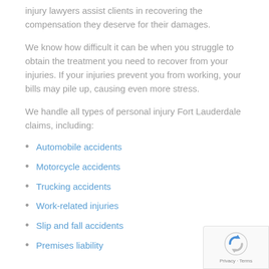injury lawyers assist clients in recovering the compensation they deserve for their damages.
We know how difficult it can be when you struggle to obtain the treatment you need to recover from your injuries. If your injuries prevent you from working, your bills may pile up, causing even more stress.
We handle all types of personal injury Fort Lauderdale claims, including:
Automobile accidents
Motorcycle accidents
Trucking accidents
Work-related injuries
Slip and fall accidents
Premises liability